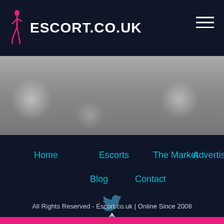ESCORT.CO.UK
[Figure (photo): Bokeh background photo with blurred circular light shapes on grey background]
Home
Escorts
The Market
Advertising
Blog
Contact
[Figure (logo): Twitter bird icon in teal/dark teal color]
All Rights Reserved - Escort.co.uk | Online Since 2008